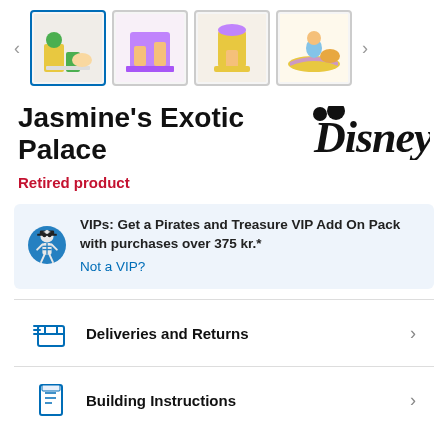[Figure (photo): Thumbnail image gallery showing 4 LEGO set photos with navigation arrows on either side. First thumbnail is selected/active with blue border.]
Jasmine's Exotic Palace
[Figure (logo): Disney logo in black script font]
Retired product
VIPs: Get a Pirates and Treasure VIP Add On Pack with purchases over 375 kr.*
Not a VIP?
Deliveries and Returns
Building Instructions